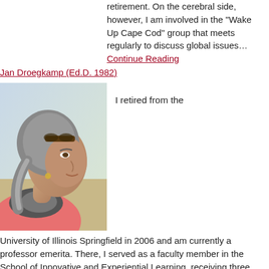retirement. On the cerebral side, however, I am involved in the "Wake Up Cape Cod" group that meets regularly to discuss global issues… Continue Reading
Jan Droegkamp (Ed.D. 1982)
[Figure (photo): Photo of Jan Droegkamp, an older woman with gray hair in a ponytail, wearing a pink top and striped scarf, photographed outdoors in profile/three-quarter view.]
I retired from the
University of Illinois Springfield in 2006 and am currently a professor emerita. There, I served as a faculty member in the School of Innovative and Experiential Learning, receiving three major faculty awards during that time – the 2006 Naomi B. Lynn Award for Outstanding Contributions to Women, 2005